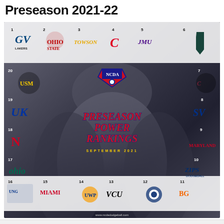Preseason 2021-22
[Figure (infographic): NCDA Preseason Power Rankings September 2021 infographic featuring logos of 20 college dodgeball teams ranked 1-20. Teams shown: 1 Grand Valley State, 2 Ohio State, 3 Towson, 4 Cincinnati, 5 JMU, 6 Michigan State, 7 Central Michigan, 8 SV (Saginaw Valley), 9 Maryland, 10 Akron Zips, 11 BGSU, 12 Penn State, 13 VCU, 14 UWP, 15 Miami, 16 UNG, 17 Ohio, 18 Nebraska, 19 Kentucky, 20 Southern Miss. Background shows players holding up a trophy with NCDA logo in center.]